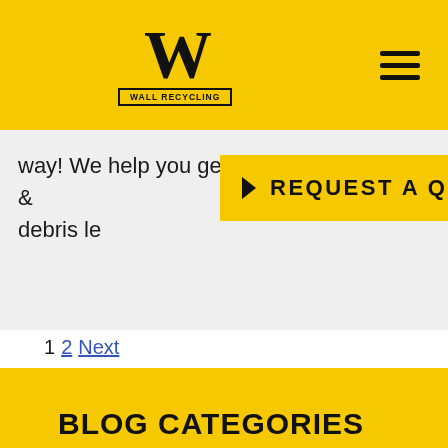[Figure (logo): Wall Recycling logo - large W letterform with WALL RECYCLING text in a bordered box underneath]
way! We help you get rid of the remnants & debris le
REQUEST A QUOTE
1 2 Next
BLOG CATEGORIES
Auto Salvage
Dumpster Rental
Environmental Services
Home Dumpster Rental
Porto Potty Rental